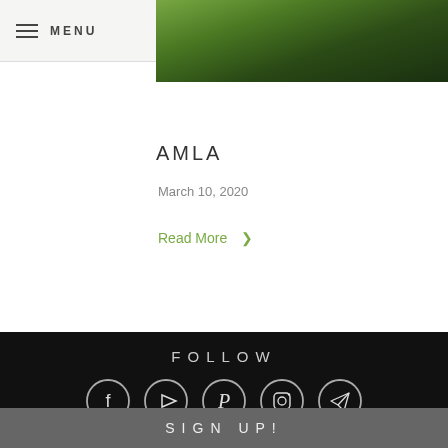MENU  Kauai Farmacy  0
[Figure (photo): Cropped photo of green foliage/plant, partially visible at top]
AMLA
March 10, 2020
Read More >
FOLLOW
[Figure (infographic): Five social media icons in circles: Facebook, YouTube, Pinterest, Instagram, Telegram]
SIGN UP!